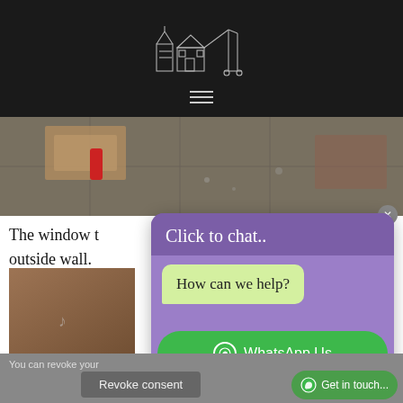[Logo: illustrated building/machine sketch on dark background with hamburger menu]
[Figure (photo): Construction/demolition site floor with debris, cardboard, and tools visible]
The window t[ext cut off]
outside wall.
[Figure (photo): Close-up of a brown surface, possibly a wall or floor, with a small marking visible]
[Figure (screenshot): WhatsApp chat popup overlay with 'Click to chat...' header, 'How can we help?' bubble, and 'WhatsApp Us' button. Footer shows 'we are online | privacy policy']
You can revoke you[r consent...]
Revoke consent
Get in touch...